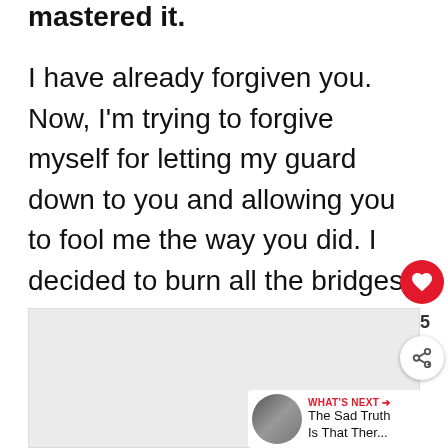mastered it.
I have already forgiven you. Now, I'm trying to forgive myself for letting my guard down to you and allowing you to fool me the way you did. I decided to burn all the bridges between us and finally move on.
[Figure (photo): Partially visible image/photo below the text block]
[Figure (infographic): UI overlay: like button (heart icon, red circle), count of 5, share button, and 'WHAT'S NEXT' widget showing 'The Sad Truth Is That Ther...']